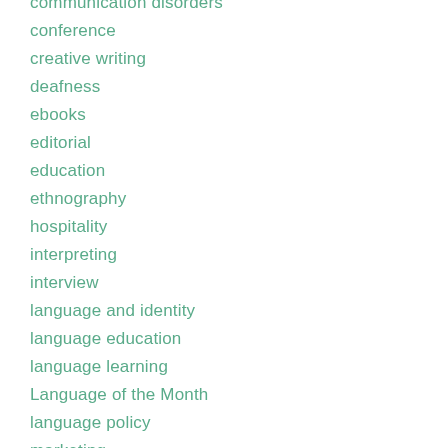communication disorders
conference
creative writing
deafness
ebooks
editorial
education
ethnography
hospitality
interpreting
interview
language and identity
language education
language learning
Language of the Month
language policy
marketing
multilingualism